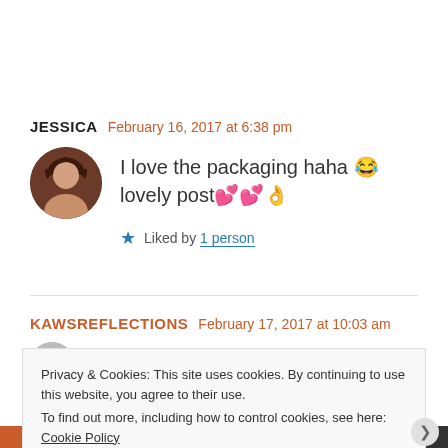JESSICA  February 16, 2017 at 6:38 pm
I love the packaging haha 😂 lovely post💕💕👌
★ Liked by 1 person
KAWSREFLECTIONS  February 17, 2017 at 10:03 am
Privacy & Cookies: This site uses cookies. By continuing to use this website, you agree to their use.
To find out more, including how to control cookies, see here: Cookie Policy
Close and accept